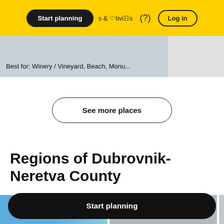Start planning   & Activities   ?   Log in
Best for: Winery / Vineyard, Beach, Monu...
See more places
Regions of Dubrovnik-Neretva County
[Figure (photo): Two region thumbnail images partially visible at bottom of page]
Start planning